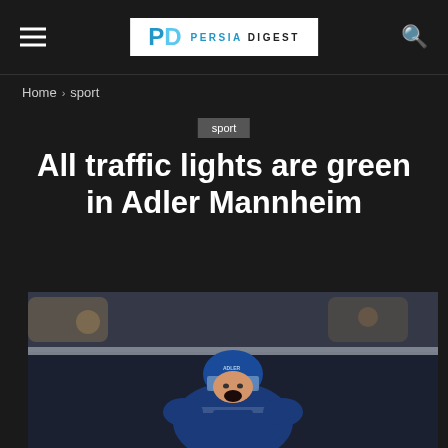Persia Digest
Home › sport
sport
All traffic lights are green in Adler Mannheim
[Figure (photo): Ice hockey player in blue helmet and team jersey celebrating or reacting with mouth open, ice rink background with spectators]